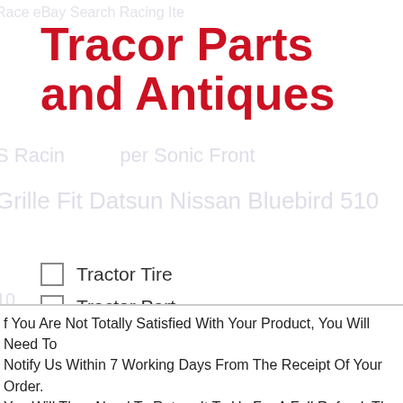Tracor Parts and Antiques
Tractor Tire
Tractor Part
Antique Tractor
Massey Ferguson Tractor
John Deere Tractor
Farm Tractor
If You Are Not Totally Satisfied With Your Product, You Will Need To Notify Us Within 7 Working Days From The Receipt Of Your Order. You Will Then Need To Return It To Us For A Full Refund. The